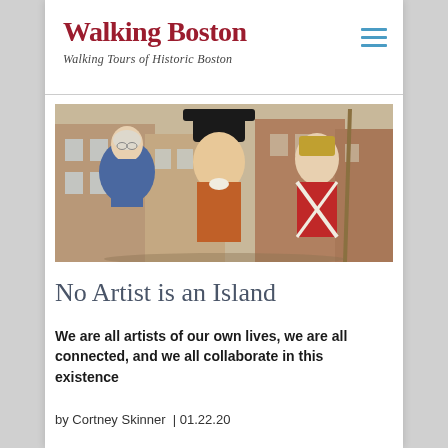Walking Boston — Walking Tours of Historic Boston
[Figure (illustration): A painting depicting three colonial-era figures: an older man in a blue coat with spectacles on the left, a young person in a black tricorn hat and orange jacket in the center, and a British redcoat soldier holding a pole on the right, set against a colonial Boston streetscape background.]
No Artist is an Island
We are all artists of our own lives, we are all connected, and we all collaborate in this existence
by Cortney Skinner  | 01.22.20